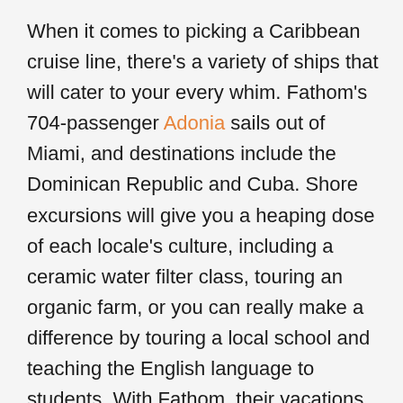When it comes to picking a Caribbean cruise line, there's a variety of ships that will cater to your every whim. Fathom's 704-passenger Adonia sails out of Miami, and destinations include the Dominican Republic and Cuba. Shore excursions will give you a heaping dose of each locale's culture, including a ceramic water filter class, touring an organic farm, or you can really make a difference by touring a local school and teaching the English language to students. With Fathom, their vacations are all about making an impact while providing a luxury traveling experience for all onboard. Travelers are encouraged to bond with one another while they engage in